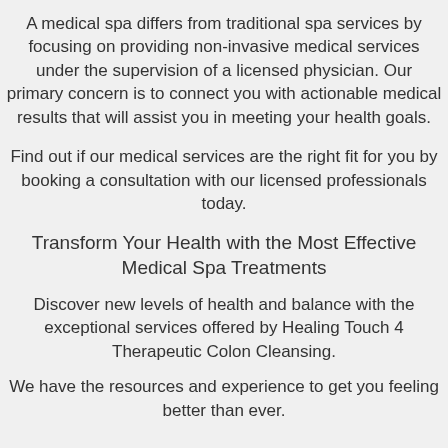A medical spa differs from traditional spa services by focusing on providing non-invasive medical services under the supervision of a licensed physician. Our primary concern is to connect you with actionable medical results that will assist you in meeting your health goals.
Find out if our medical services are the right fit for you by booking a consultation with our licensed professionals today.
Transform Your Health with the Most Effective Medical Spa Treatments
Discover new levels of health and balance with the exceptional services offered by Healing Touch 4 Therapeutic Colon Cleansing.
We have the resources and experience to get you feeling better than ever.